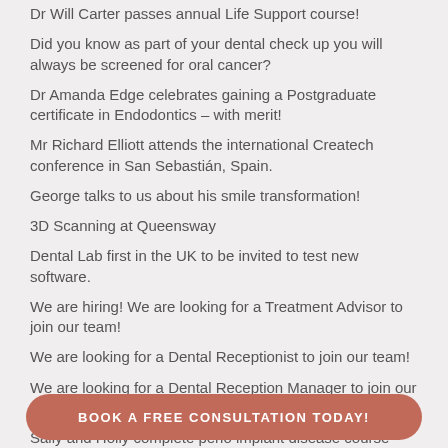Dr Will Carter passes annual Life Support course!
Did you know as part of your dental check up you will always be screened for oral cancer?
Dr Amanda Edge celebrates gaining a Postgraduate certificate in Endodontics – with merit!
Mr Richard Elliott attends the international Createch conference in San Sebastián, Spain.
George talks to us about his smile transformation!
3D Scanning at Queensway
Dental Lab first in the UK to be invited to test new software.
We are hiring! We are looking for a Treatment Advisor to join our team!
We are looking for a Dental Receptionist to join our team!
We are looking for a Dental Reception Manager to join our team!
Sally and Holly complete perio implant disease course
BOOK A FREE CONSULTATION TODAY!